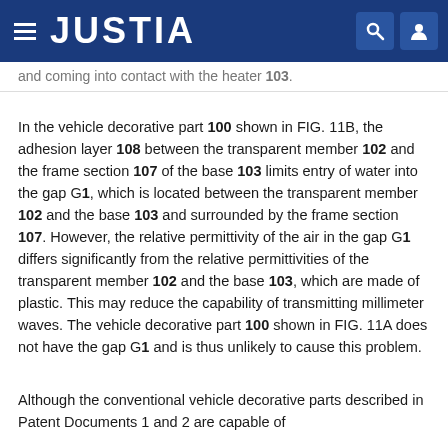JUSTIA
and coming into contact with the heater 103.
In the vehicle decorative part 100 shown in FIG. 11B, the adhesion layer 108 between the transparent member 102 and the frame section 107 of the base 103 limits entry of water into the gap G1, which is located between the transparent member 102 and the base 103 and surrounded by the frame section 107. However, the relative permittivity of the air in the gap G1 differs significantly from the relative permittivities of the transparent member 102 and the base 103, which are made of plastic. This may reduce the capability of transmitting millimeter waves. The vehicle decorative part 100 shown in FIG. 11A does not have the gap G1 and is thus unlikely to cause this problem.
Although the conventional vehicle decorative parts described in Patent Documents 1 and 2 are capable of